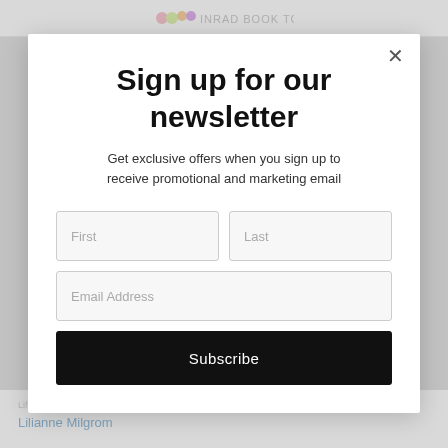[Figure (screenshot): Website header partially visible behind modal, showing logo with colorful circles and site name text]
Sign up for our newsletter
Get exclusive offers when you sign up to receive promotional and marketing email
First
Last
Email Address
Subscribe
Lifestyle
Lilianne Milgrom